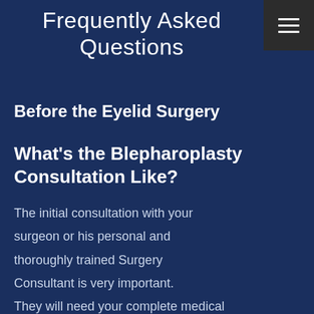Frequently Asked Questions
[Figure (other): Hamburger menu icon in dark gray box in top right corner]
Before the Eyelid Surgery
What's the Blepharoplasty Consultation Like?
The initial consultation with your surgeon or his personal and thoroughly trained Surgery Consultant is very important. They will need your complete medical